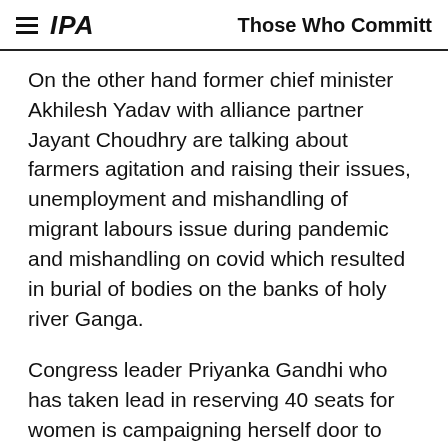IPA | Those Who Committ
On the other hand former chief minister Akhilesh Yadav with alliance partner Jayant Choudhry are talking about farmers agitation and raising their issues, unemployment and mishandling of migrant labours issue during pandemic and mishandling on covid which resulted in burial of bodies on the banks of holy river Ganga.
Congress leader Priyanka Gandhi who has taken lead in reserving 40 seats for women is campaigning herself door to door and using digital media raising the issues of farmers, insecurity in women, growing unemployment, fake encounters and bad governance of Modi and Yogi governments.